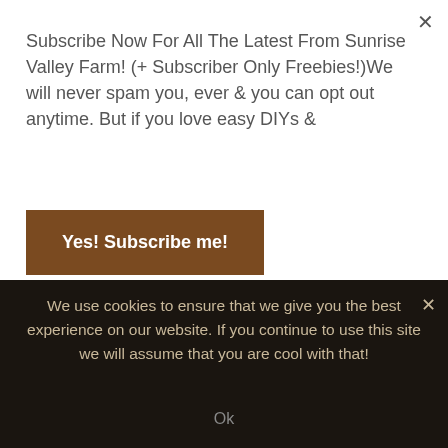Subscribe Now For All The Latest From Sunrise Valley Farm! (+ Subscriber Only Freebies!)We will never spam you, ever & you can opt out anytime. But if you love easy DIYs &
Yes! Subscribe me!
Ana
We use cookies to ensure that we give you the best experience on our website. If you continue to use this site we will assume that you are cool with that!
Ok